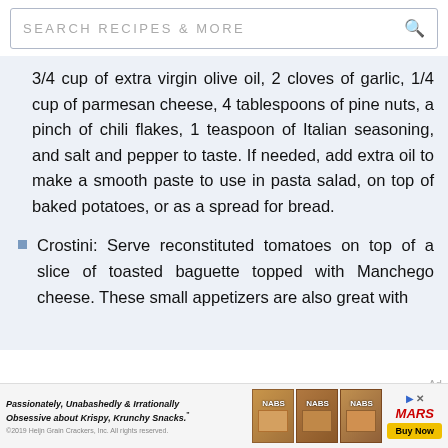SEARCH RECIPES & MORE
3/4 cup of extra virgin olive oil, 2 cloves of garlic, 1/4 cup of parmesan cheese, 4 tablespoons of pine nuts, a pinch of chili flakes, 1 teaspoon of Italian seasoning, and salt and pepper to taste. If needed, add extra oil to make a smooth paste to use in pasta salad, on top of baked potatoes, or as a spread for bread.
Crostini: Serve reconstituted tomatoes on top of a slice of toasted baguette topped with Manchego cheese. These small appetizers are also great with
[Figure (screenshot): Advertisement banner at bottom: Nabisco/Mars snack crackers ad with text 'Passionately, Unabashedly & Irrationally Obsessive about Krispy, Krunchy Snacks.' and Buy Now button]